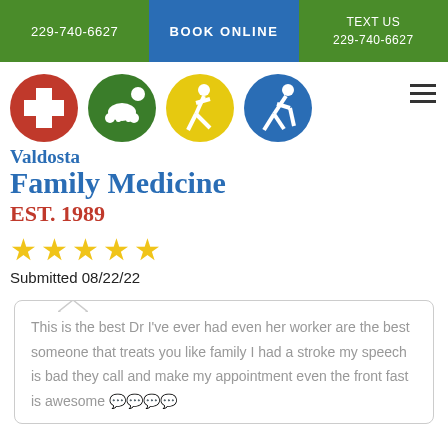229-740-6627   BOOK ONLINE   TEXT US 229-740-6627
[Figure (logo): Four circular icons: red circle with white cross, green circle with crawling baby, yellow circle with walking person, blue circle with person using cane]
Valdosta Family Medicine EST. 1989
[Figure (infographic): Five gold star rating]
Submitted 08/22/22
This is the best Dr I've ever had even her worker are the best someone that treats you like family I had a stroke my speech is bad they call and make my appointment even the front fast is awesome 💬💬💬💬